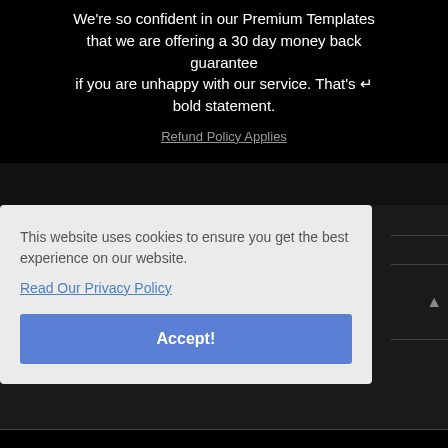We're so confident in our Premium Templates that we are offering a 30 day money back guarantee if you are unhappy with our service. That's a bold statement.
Refund Policy Applies
This website uses cookies to ensure you get the best experience on our website.
Read Our Privacy Policy
Accept!